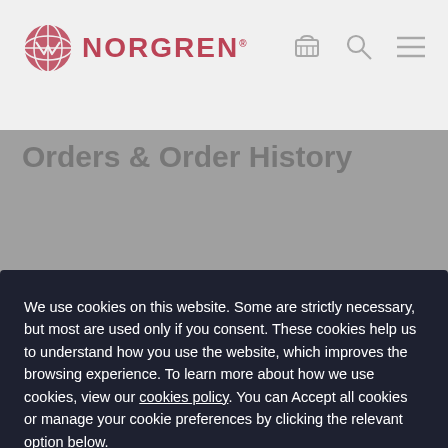NORGREN
Orders & Order History
We use cookies on this website. Some are strictly necessary, but most are used only if you consent. These cookies help us to understand how you use the website, which improves the browsing experience. To learn more about how we use cookies, view our cookies policy. You can Accept all cookies or manage your cookie preferences by clicking the relevant option below.
Manage cookies
Accept all cookies
from your connection. To continue, please confirm that youâ€™re a human (and not a spambot).